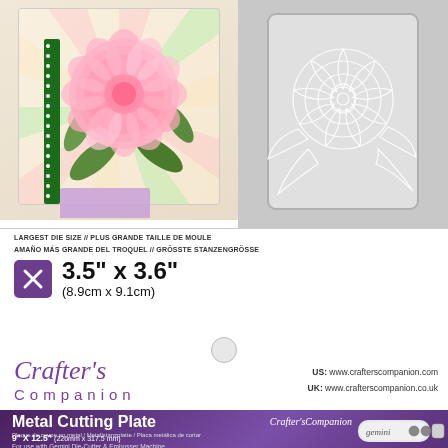[Figure (photo): Product packaging for Crafter's Companion die cutting set showing a floral card with pink peony flower on the left and a metal die with flower outline on the right]
LARGEST DIE SIZE // PLUS GRANDE TAILLE DE MOULE
AMAÑO MÁS GRANDE DEL TROQUEL // GRÖSSTE STANZENGRÖSSE
3.5" x 3.6"
(8.9cm x 9.1cm)
[Figure (logo): Crafter's Companion logo in purple italic script]
US: www.crafterscompanion.com
UK: www.crafterscompanion.co.uk
Metal Cutting Plate
Plaque de coupe en metal / Metallstanzplatte / Placa metálica de cortar
9" X 12.5" (226mm x 317.5 mm)
For use with Gemini Die-Cutter & Embosser Machine